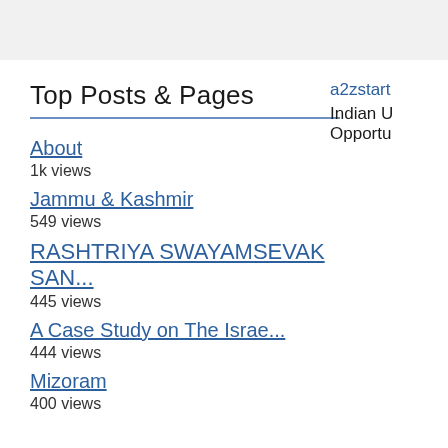Top Posts & Pages
About
1k views
Jammu & Kashmir
549 views
RASHTRIYA SWAYAMSEVAK SAN...
445 views
A Case Study on The Israe...
444 views
Mizoram
400 views
a2zstart
Indian U
Opportu